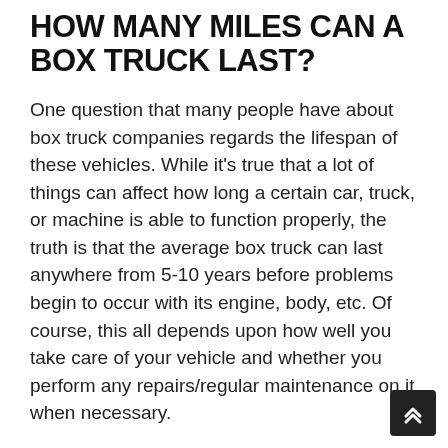HOW MANY MILES CAN A BOX TRUCK LAST?
One question that many people have about box truck companies regards the lifespan of these vehicles. While it's true that a lot of things can affect how long a certain car, truck, or machine is able to function properly, the truth is that the average box truck can last anywhere from 5-10 years before problems begin to occur with its engine, body, etc. Of course, this all depends upon how well you take care of your vehicle and whether you perform any repairs/regular maintenance on it when necessary.
The timeframe for this kind of thing will vary depending upon what equipment is being used and what its purpose is. For example, a high-powered fan or machine might require more frequent replacement/maintenance than something like a